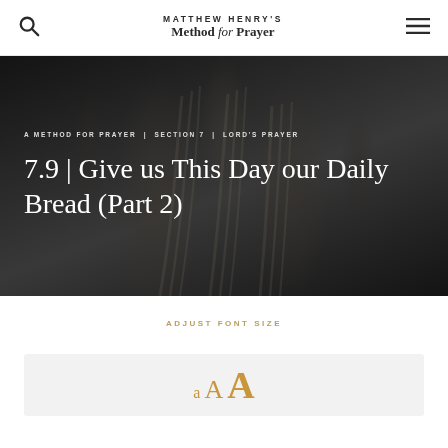MATTHEW HENRY'S Method for Prayer
[Figure (photo): Dark background photo of praying hands in black and white]
A METHOD FOR PRAYER | SECTION 7 | LORD'S PRAYER
7.9 | Give us This Day our Daily Bread (Part 2)
ADJUST FONT SIZE
[Figure (infographic): Font size selector showing three A letters in increasing sizes in gold/amber color on a light gray background]